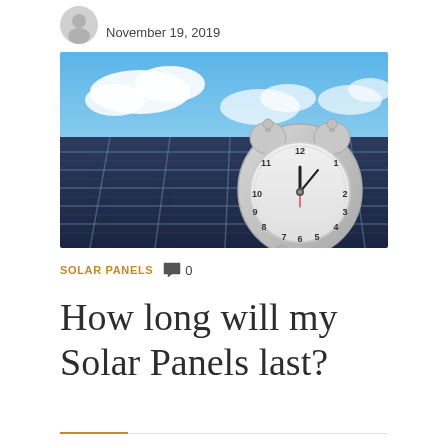November 19, 2019
[Figure (photo): Solar panels in a field under blue sky with clouds, with a vintage silver alarm clock sitting on top of the solar panels in the foreground right.]
SOLAR PANELS   💬 0
How long will my Solar Panels last?